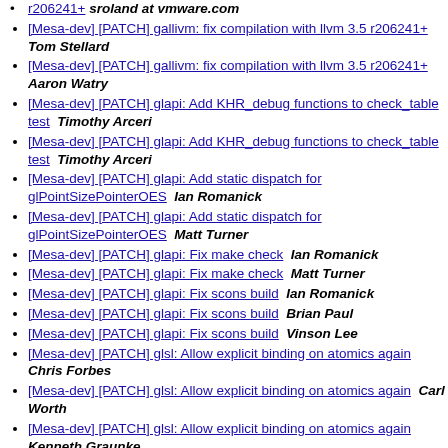[Mesa-dev] [PATCH] gallivm: fix compilation with llvm 3.5 r206241+  Tom Stellard
[Mesa-dev] [PATCH] gallivm: fix compilation with llvm 3.5 r206241+  Aaron Watry
[Mesa-dev] [PATCH] glapi: Add KHR_debug functions to check_table test  Timothy Arceri
[Mesa-dev] [PATCH] glapi: Add KHR_debug functions to check_table test  Timothy Arceri
[Mesa-dev] [PATCH] glapi: Add static dispatch for glPointSizePointerOES  Ian Romanick
[Mesa-dev] [PATCH] glapi: Add static dispatch for glPointSizePointerOES  Matt Turner
[Mesa-dev] [PATCH] glapi: Fix make check   Ian Romanick
[Mesa-dev] [PATCH] glapi: Fix make check   Matt Turner
[Mesa-dev] [PATCH] glapi: Fix scons build   Ian Romanick
[Mesa-dev] [PATCH] glapi: Fix scons build   Brian Paul
[Mesa-dev] [PATCH] glapi: Fix scons build   Vinson Lee
[Mesa-dev] [PATCH] glsl: Allow explicit binding on atomics again  Chris Forbes
[Mesa-dev] [PATCH] glsl: Allow explicit binding on atomics again  Carl Worth
[Mesa-dev] [PATCH] glsl: Allow explicit binding on atomics again  Kenneth Graunke
[Mesa-dev] [PATCH] glsl: Expand matrix flip optimization